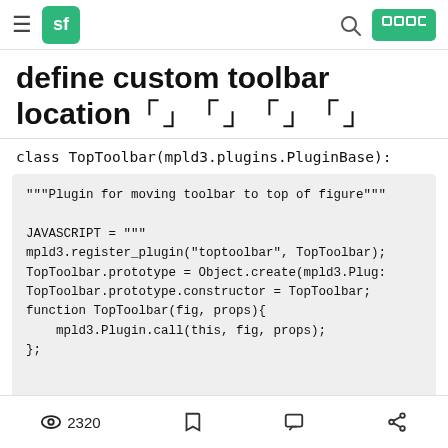sf  [search] [navigation buttons]
define custom toolbar location「」「」「」「」
class TopToolbar(mpld3.plugins.PluginBase):
"""Plugin for moving toolbar to top of figure"""

JAVASCRIPT = """
mpld3.register_plugin("toptoolbar", TopToolbar);
TopToolbar.prototype = Object.create(mpld3.Plug:
TopToolbar.prototype.constructor = TopToolbar;
function TopToolbar(fig, props){
    mpld3.Plugin.call(this, fig, props);
};
2320 [bookmark] [comment] [share]